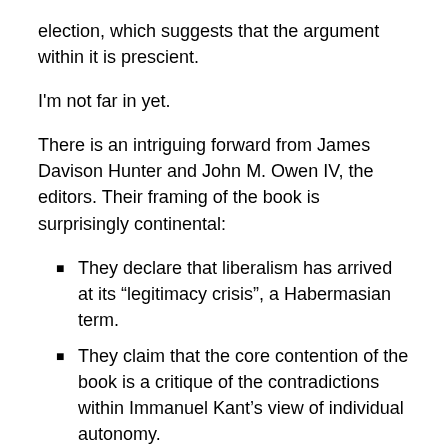election, which suggests that the argument within it is prescient.
I'm not far in yet.
There is an intriguing forward from James Davison Hunter and John M. Owen IV, the editors. Their framing of the book is surprisingly continental:
They declare that liberalism has arrived at its “legitimacy crisis”, a Habermasian term.
They claim that the core contention of the book is a critique of the contradictions within Immanuel Kant’s view of individual autonomy.
They compare Deenan with other “radical” critics of liberalism, of which they name: Marx, the Frankfurt School, Foucault, Nietzsche, Schmitt, and the Catholic